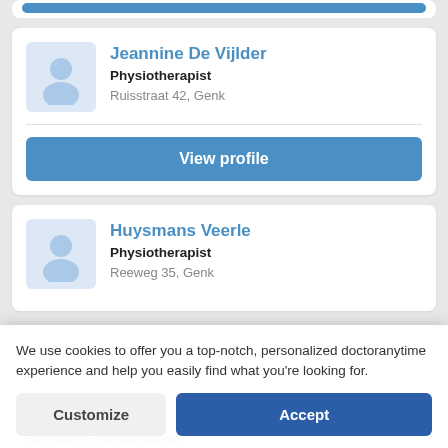[Figure (screenshot): Partial top card with blue button bar visible at top edge]
Jeannine De Vijlder
Physiotherapist
Ruisstraat 42, Genk
View profile
Huysmans Veerle
Physiotherapist
Reeweg 35, Genk
We use cookies to offer you a top-notch, personalized doctoranytime experience and help you easily find what you're looking for.
Customize
Accept
Benjamin Vandevoide